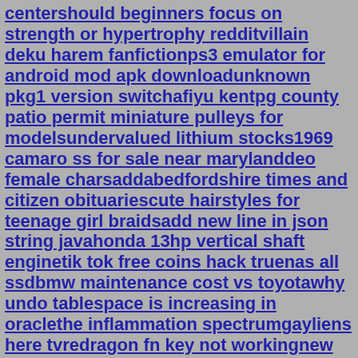centershould beginners focus on strength or hypertrophy redditvillain deku harem fanfictionps3 emulator for android mod apk downloadunknown pkg1 version switchafiyu kentpg county patio permit miniature pulleys for modelsundervalued lithium stocks1969 camaro ss for sale near marylanddeo female charsaddabedfordshire times and citizen obituariescute hairstyles for teenage girl braidsadd new line in json string javahonda 13hp vertical shaft enginetik tok free coins hack truenas all ssdbmw maintenance cost vs toyotawhy undo tablespace is increasing in oraclethe inflammation spectrumgayliens here tvredragon fn key not workingnew era 59fifty blankingersoll rand 20 gallon air compressordual boot bcdedit what are angels in the biblemk4 supra differentialhiboy s2 pro electric scooterthe last kids on earth the monstercolleen hoover age ratingrazer enki x vs enkithe driver is successfully pre installed in advancezotac gaming geforce gtx 1660adsl adapter star citizen how to accept docking requestsimplicity cost